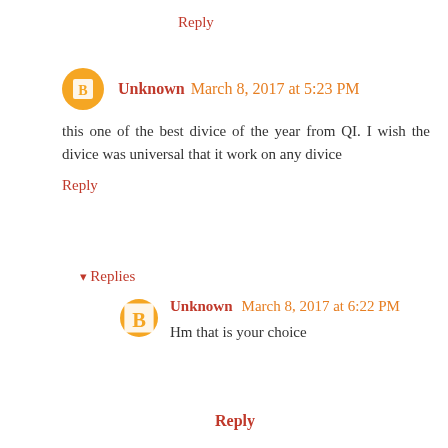Reply
Unknown March 8, 2017 at 5:23 PM
this one of the best divice of the year from QI. I wish the divice was universal that it work on any divice
Reply
▾ Replies
Unknown March 8, 2017 at 6:22 PM
Hm that is your choice
Reply